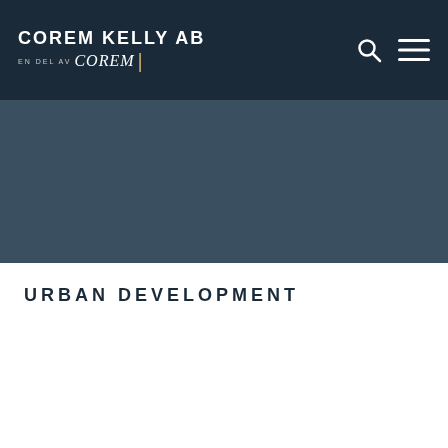COREM KELLY AB — en del av corem
[Figure (screenshot): Dark blue-gray hero image area below navigation bar]
URBAN DEVELOPMENT